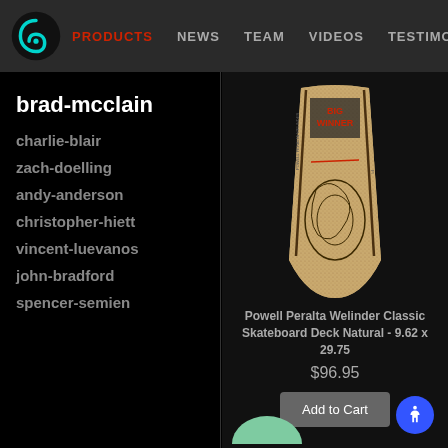PRODUCTS  NEWS  TEAM  VIDEOS  TESTIMON
brad-mcclain
charlie-blair
zach-doelling
andy-anderson
christopher-hiett
vincent-luevanos
john-bradford
spencer-semien
[Figure (photo): Powell Peralta Welinder Classic Skateboard Deck Natural showing ornate illustration]
Powell Peralta Welinder Classic Skateboard Deck Natural - 9.62 x 29.75
$96.95